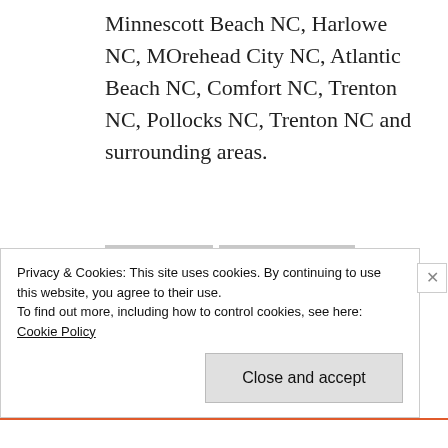Minnescott Beach NC, Harlowe NC, MOrehead City NC, Atlantic Beach NC, Comfort NC, Trenton NC, Pollocks NC, Trenton NC and surrounding areas.
ALBERTSON NC
ATLANTIC BEACH NC
BEULAVILLE NC
BLACK RACER
BOGUE NC
BULL SNAKE
COMFORT NC
CORAL SNAKE
CORN SNAKE
DEEP RUN NC
Privacy & Cookies: This site uses cookies. By continuing to use this website, you agree to their use.
To find out more, including how to control cookies, see here: Cookie Policy